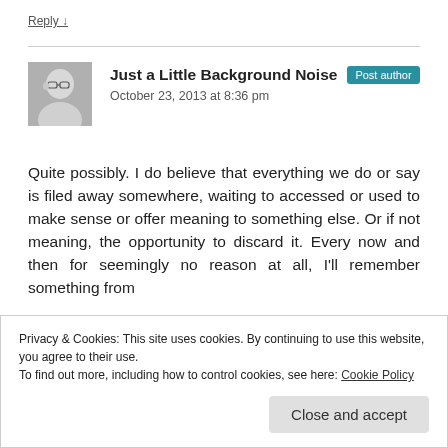Reply ↓
Just a Little Background Noise  Post author
October 23, 2013 at 8:36 pm
[Figure (photo): Avatar photo of a bald person with glasses]
Quite possibly. I do believe that everything we do or say is filed away somewhere, waiting to accessed or used to make sense or offer meaning to something else. Or if not meaning, the opportunity to discard it. Every now and then for seemingly no reason at all, I'll remember something from
Privacy & Cookies: This site uses cookies. By continuing to use this website, you agree to their use.
To find out more, including how to control cookies, see here: Cookie Policy
Close and accept